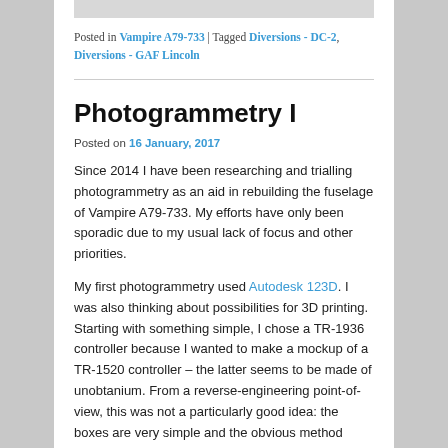Posted in Vampire A79-733 | Tagged Diversions - DC-2, Diversions - GAF Lincoln
Photogrammetry I
Posted on 16 January, 2017
Since 2014 I have been researching and trialling photogrammetry as an aid in rebuilding the fuselage of Vampire A79-733. My efforts have only been sporadic due to my usual lack of focus and other priorities.
My first photogrammetry used Autodesk 123D. I was also thinking about possibilities for 3D printing. Starting with something simple, I chose a TR-1936 controller because I wanted to make a mockup of a TR-1520 controller – the latter seems to be made of unobtanium. From a reverse-engineering point-of-view, this was not a particularly good idea: the boxes are very simple and the obvious method